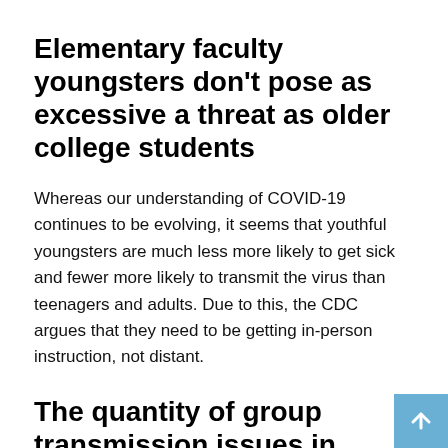Elementary faculty youngsters don't pose as excessive a threat as older college students
Whereas our understanding of COVID-19 continues to be evolving, it seems that youthful youngsters are much less more likely to get sick and fewer more likely to transmit the virus than teenagers and adults. Due to this, the CDC argues that they need to be getting in-person instruction, not distant.
The quantity of group transmission issues in choices to reopen colleges
The CDC stratifies group unfold of COVID-19 into 4 ranges based mostly on instances per 100,000 individuals and the of exams which can be optimistic. The degrees are